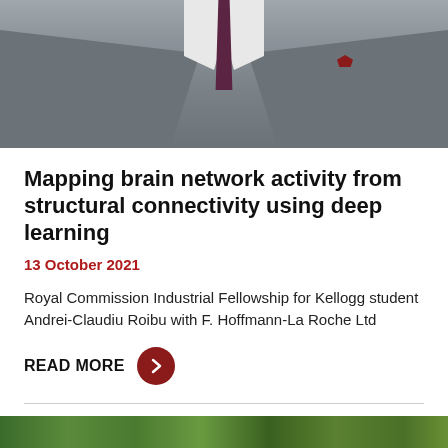[Figure (photo): Photo of a man in a grey suit with a dark burgundy/purple tie and white shirt, cropped to show torso only]
Mapping brain network activity from structural connectivity using deep learning
13 October 2021
Royal Commission Industrial Fellowship for Kellogg student Andrei-Claudiu Roibu with F. Hoffmann-La Roche Ltd
READ MORE
[Figure (photo): Partial photo at bottom of page showing green foliage/nature scene]